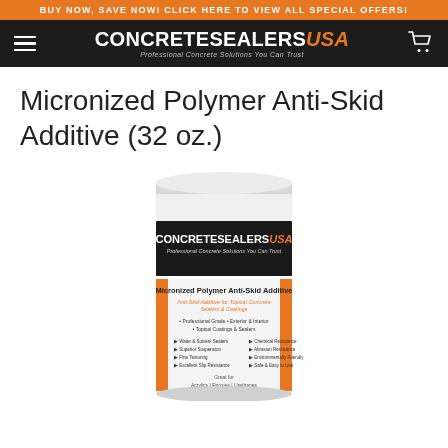BUY NOW, SAVE NOW! CLICK HERE TO VIEW ALL SPECIAL OFFERS!
ConcreteSealers USA — Professional Concrete Solutions You Can Trust
Micronized Polymer Anti-Skid Additive (32 oz.)
[Figure (photo): Canister of Micronized Polymer Anti-Skid Additive by ConcreteSealers USA, showing product label with features: Professional Grade, Exterior & Interior, Topical Coatings & Sealers; Water & Solvent Sealers, Chemical Resistance, Superior Suspension, Abrasion Resistance, Fine Texturing, Environmentally Friendly, Excellent Slip Resistance, Safe & Easy to Use. Great for Acrylics | Epoxies | Urethanes.]